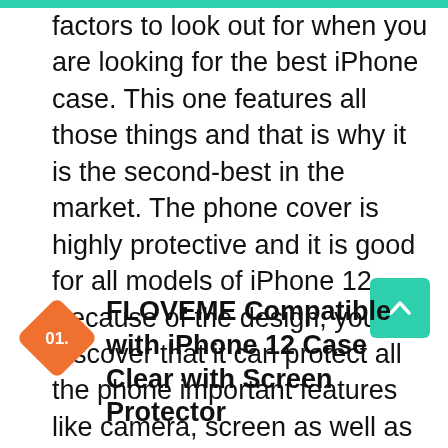factors to look out for when you are looking for the best iPhone case. This one features all those things and that is why it is the second-best in the market. The phone cover is highly protective and it is good for all models of iPhone 12. Because of the design, you discover that it can protect all the phone important features like camera, screen as well as the lens, and so on.
01. FLOVEME Compatible with iPhone 12 Case Clear with Screen Protector